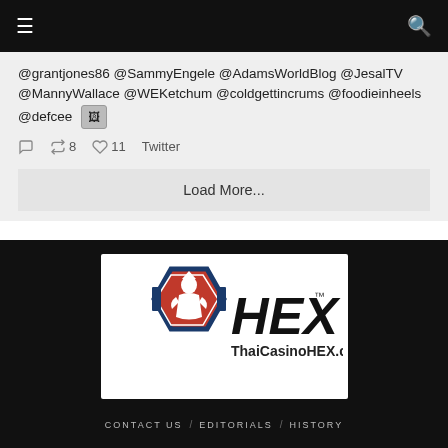Navigation header with menu and search icons
@grantjones86 @SammyEngele @AdamsWorldBlog @JesalTV @MannyWallace @WEKetchum @coldgettincrums @foodieinheels @defcee [image icon]
↩8  ♡ 11  Twitter
Load More...
[Figure (logo): HEX ThaiCasinoHEX.com logo with hexagonal badge featuring Asian warrior figure in red/white/blue and bold HEX text]
CONTACT US / EDITORIALS / HISTORY